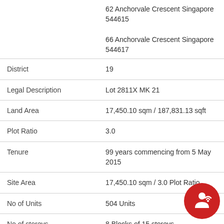|  |  |
| --- | --- |
|  | 62 Anchorvale Crescent Singapore 544615

66 Anchorvale Crescent Singapore 544617 |
| District | 19 |
| Legal Description | Lot 2811X MK 21 |
| Land Area | 17,450.10 sqm / 187,831.13 sqft |
| Plot Ratio | 3.0 |
| Tenure | 99 years commencing from 5 May 2015 |
| Site Area | 17,450.10 sqm / 3.0 Plot Ratio |
| No of Units | 504 Units |
| No of storeys | 8 Blocks of 15 storeys |